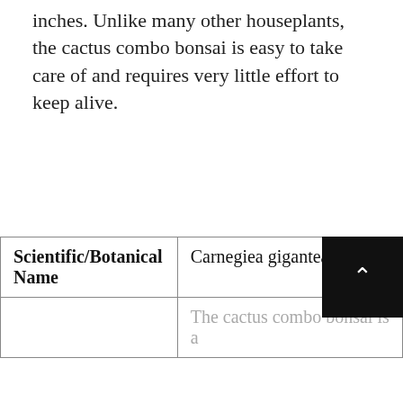inches. Unlike many other houseplants, the cactus combo bonsai is easy to take care of and requires very little effort to keep alive.
| Scientific/Botanical Name |  |
| --- | --- |
| Scientific/Botanical Name | Carnegiea gigantea |
|  | The cactus combo bonsai is a |